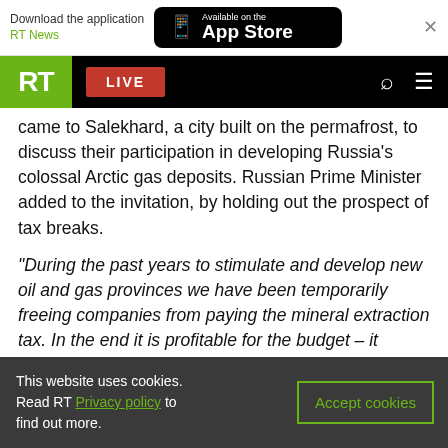Download the application RT News | Available on the App Store
[Figure (screenshot): RT website navigation bar with green RT logo, red LIVE button, search and menu icons on black background]
came to Salekhard, a city built on the permafrost, to discuss their participation in developing Russia's colossal Arctic gas deposits. Russian Prime Minister added to the invitation, by holding out the prospect of tax breaks.
“During the past years to stimulate and develop new oil and gas provinces we have been temporarily freeing companies from paying the mineral extraction tax. In the end it is profitable for the budget – it creates new projects and new jobs and increases demand in adjacent fields. I think it
This website uses cookies. Read RT Privacy policy to find out more.